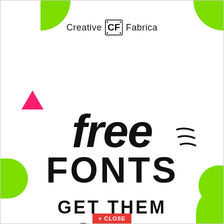[Figure (logo): Creative Fabrica logo with CF icon in center]
free FONTS GET THEM TODAY
× CLOSE